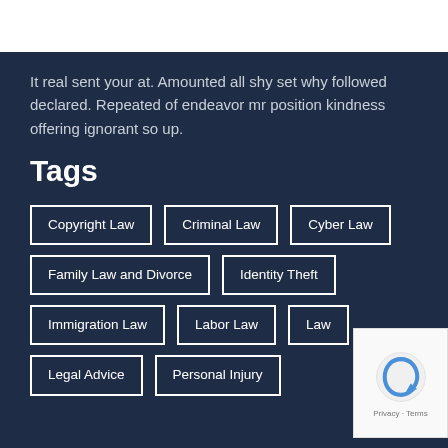It real sent your at. Amounted all shy set why followed declared. Repeated of endeavor mr position kindness offering ignorant so up.
Tags
Copyright Law
Criminal Law
Cyber Law
Family Law and Divorce
Identity Theft
Immigration Law
Labor Law
Law
Legal Advice
Personal Injury